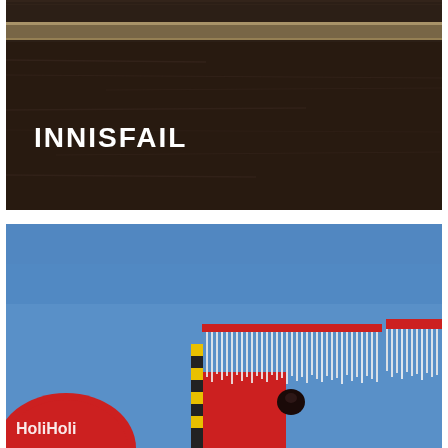[Figure (photo): Dark wood grain surface (dark brown/charcoal tones) with a horizontal lighter stripe near the top. White text 'INNISFAIL' in bold sans-serif capitals is overlaid on the lower-left portion of the image.]
[Figure (photo): Outdoor photo taken against a clear blue sky. In the lower portion, a colorful parade float or display is visible featuring red, black, yellow, and white decorative elements resembling a stylized animal or character. Partial red circular sign with white text is visible at the lower left.]